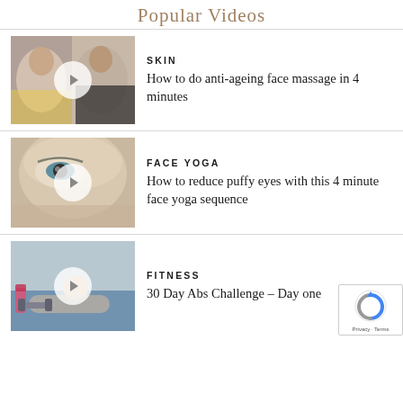Popular Videos
[Figure (screenshot): Video thumbnail for skin anti-ageing face massage video showing two women]
SKIN
How to do anti-ageing face massage in 4 minutes
[Figure (screenshot): Video thumbnail for face yoga reduce puffy eyes video showing close-up of eye]
FACE YOGA
How to reduce puffy eyes with this 4 minute face yoga sequence
[Figure (screenshot): Video thumbnail for 30 Day Abs Challenge fitness video showing person doing abs exercise]
FITNESS
30 Day Abs Challenge – Day one